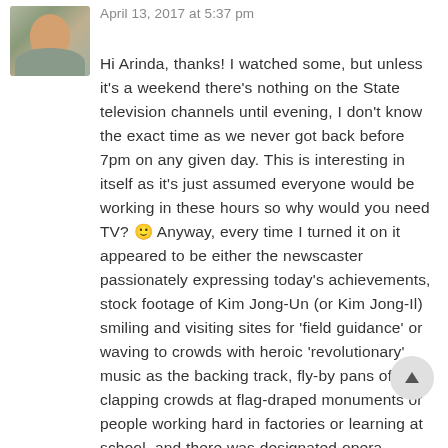[Figure (photo): Small profile photo of a person, partially cropped, showing face and shoulders outdoors]
April 13, 2017 at 5:37 pm
Hi Arinda, thanks! I watched some, but unless it's a weekend there's nothing on the State television channels until evening, I don't know the exact time as we never got back before 7pm on any given day. This is interesting in itself as it's just assumed everyone would be working in these hours so why would you need TV? 🙂 Anyway, every time I turned it on it appeared to be either the newscaster passionately expressing today's achievements, stock footage of Kim Jong-Un (or Kim Jong-Il) smiling and visiting sites for 'field guidance' or waving to crowds with heroic 'revolutionary' music as the backing track, fly-by pans of huge clapping crowds at flag-draped monuments or people working hard in factories or learning at school, and there was designated opera performances like